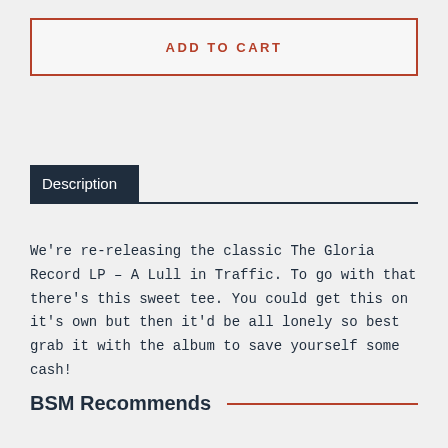ADD TO CART
Description
We're re-releasing the classic The Gloria Record LP – A Lull in Traffic. To go with that there's this sweet tee. You could get this on it's own but then it'd be all lonely so best grab it with the album to save yourself some cash!
BSM Recommends